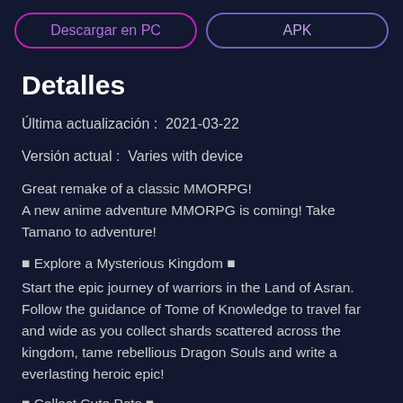Descargar en PC | APK
Detalles
Última actualización :  2021-03-22
Versión actual :  Varies with device
Great remake of a classic MMORPG!
A new anime adventure MMORPG is coming! Take Tamano to adventure!
■ Explore a Mysterious Kingdom ■
Start the epic journey of warriors in the Land of Asran. Follow the guidance of Tome of Knowledge to travel far and wide as you collect shards scattered across the kingdom, tame rebellious Dragon Souls and write a everlasting heroic epic!
■ Collect Cute Pets ■